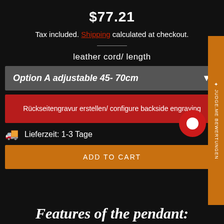$77.21
Tax included. Shipping calculated at checkout.
leather cord/ length
Option A adjustable 45- 70cm
Rückseitengravur erstellen/ configure backside engraving
Lieferzeit: 1-3 Tage
ADD TO CART
Features of the pendant: